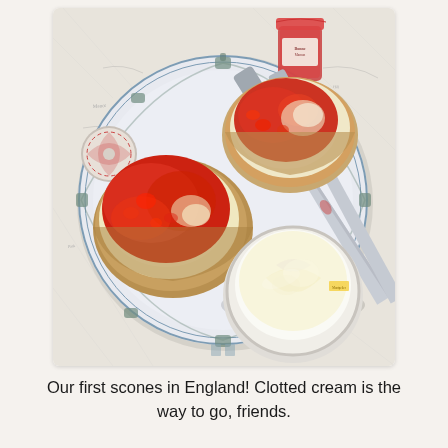[Figure (photo): Overhead view of two scones topped with strawberry jam and clotted cream on a decorative floral plate, with a small white bowl of clotted cream, a butter knife, and a jar of jam visible on a patterned tablecloth.]
Our first scones in England! Clotted cream is the way to go, friends.